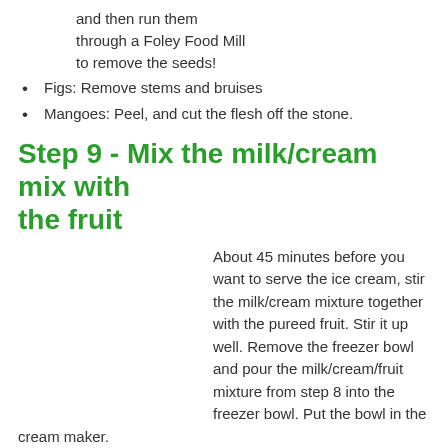and then run them through a Foley Food Mill to remove the seeds!
Figs: Remove stems and bruises
Mangoes: Peel, and cut the flesh off the stone.
Step 9 - Mix the milk/cream mix with the fruit
About 45 minutes before you want to serve the ice cream, stir the milk/cream mixture together with the pureed fruit. Stir it up well. Remove the freezer bowl and pour the milk/cream/fruit mixture from step 8 into the freezer bowl. Put the bowl in the cream maker.